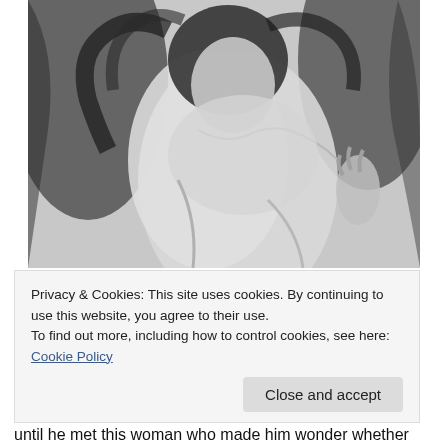[Figure (illustration): Black and white pencil or charcoal drawing of a person with dark flowing hair, eyes closed, head bowed, with bare shoulders visible. The style is intimate and artistic.]
Privacy & Cookies: This site uses cookies. By continuing to use this website, you agree to their use.
To find out more, including how to control cookies, see here: Cookie Policy
Close and accept
until he met this woman who made him wonder whether